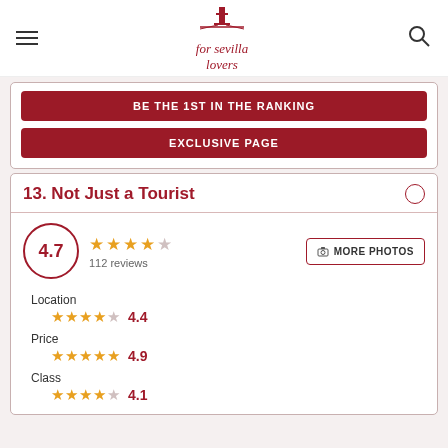[Figure (logo): For Sevilla Lovers logo with tower icon and handwritten text]
BE THE 1ST IN THE RANKING
EXCLUSIVE PAGE
13. Not Just a Tourist
4.7
112 reviews
★★★★☆
MORE PHOTOS
Location
★★★★☆ 4.4
Price
★★★★★ 4.9
Class
★★★★☆ 4.1